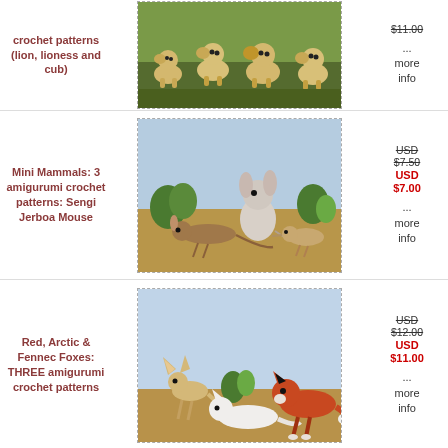crochet patterns (lion, lioness and cub)
[Figure (photo): Crocheted amigurumi lion, lioness and cub figures on green background]
... more info
Mini Mammals: 3 amigurumi crochet patterns: Sengi Jerboa Mouse
[Figure (photo): Crocheted amigurumi mini mammals - Sengi, Jerboa, and Mouse on sandy background with plants]
USD $7.50 USD $7.00
... more info
Red, Arctic & Fennec Foxes: THREE amigurumi crochet patterns
[Figure (photo): Crocheted amigurumi red fox, arctic fox, and fennec fox on sandy background]
USD $12.00 USD $11.00
... more info